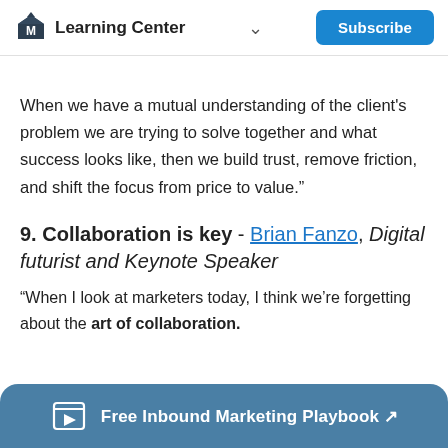Learning Center | Subscribe
When we have a mutual understanding of the client's problem we are trying to solve together and what success looks like, then we build trust, remove friction, and shift the focus from price to value.”
9. Collaboration is key - Brian Fanzo, Digital futurist and Keynote Speaker
“When I look at marketers today, I think we’re forgetting about the art of collaboration.
Free Inbound Marketing Playbook ↗